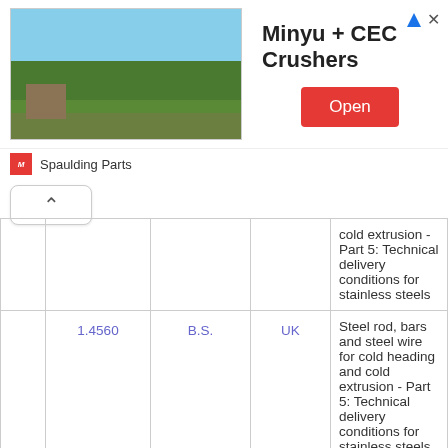[Figure (other): Advertisement banner for Minyu + CEC Crushers by Spaulding Parts, featuring a golf course/field photo, company name text, and a red Open button.]
|  | Material Number | Standard | Country | Description |
| --- | --- | --- | --- | --- |
|  |  |  |  | cold extrusion - Part 5: Technical delivery conditions for stainless steels |
|  | 1.4560 | B.S. | UK | Steel rod, bars and steel wire for cold heading and cold extrusion - Part 5: Technical delivery conditions for stainless steels |